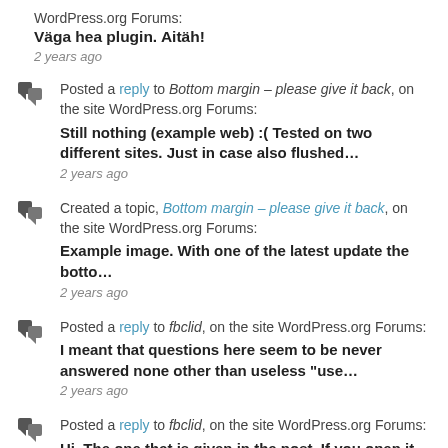WordPress.org Forums: Väga hea plugin. Aitäh! 2 years ago
Posted a reply to Bottom margin – please give it back, on the site WordPress.org Forums: Still nothing (example web) :( Tested on two different sites. Just in case also flushed… 2 years ago
Created a topic, Bottom margin – please give it back, on the site WordPress.org Forums: Example image. With one of the latest update the botto… 2 years ago
Posted a reply to fbclid, on the site WordPress.org Forums: I meant that questions here seem to be never answered none other than useless "use… 2 years ago
Posted a reply to fbclid, on the site WordPress.org Forums: Hi. The one that is given in the post. If you open it then it… 2 years ago